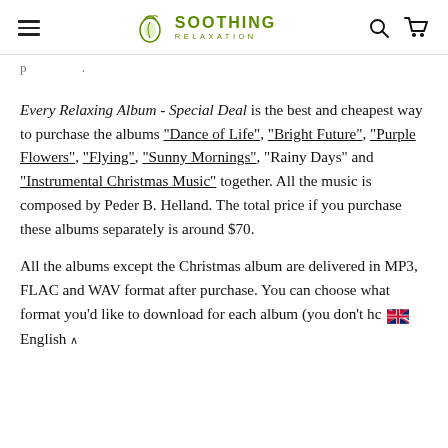Soothing Relaxation — navigation header with hamburger menu, logo, search and cart icons
Every Relaxing Album - Special Deal is the best and cheapest way to purchase the albums "Dance of Life", "Bright Future", "Purple Flowers", "Flying", "Sunny Mornings", "Rainy Days" and "Instrumental Christmas Music" together. All the music is composed by Peder B. Helland. The total price if you purchase these albums separately is around $70.
All the albums except the Christmas album are delivered in MP3, FLAC and WAV format after purchase. You can choose what format you'd like to download for each album (you don't hc...